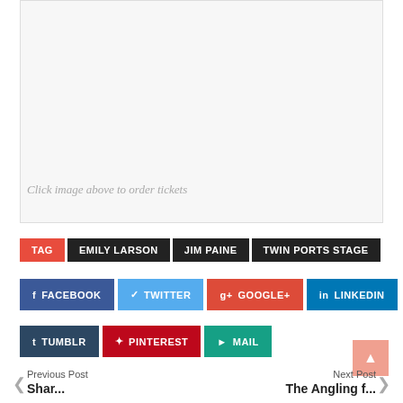[Figure (other): White/light gray empty image placeholder box with border]
Click image above to order tickets
TAG  EMILY LARSON  JIM PAINE  TWIN PORTS STAGE
FACEBOOK  TWITTER  GOOGLE+  LINKEDIN
TUMBLR  PINTEREST  MAIL
Previous Post
Next Post